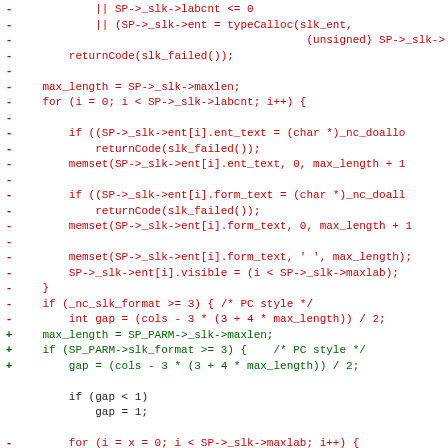[Figure (screenshot): A code diff showing removed lines (red, prefixed with -) and added lines (green, prefixed with +) in C source code related to soft-label (slk) memory allocation and initialization. Some green lines contain highlighted text 'SP_PARM' in a bright green background.]